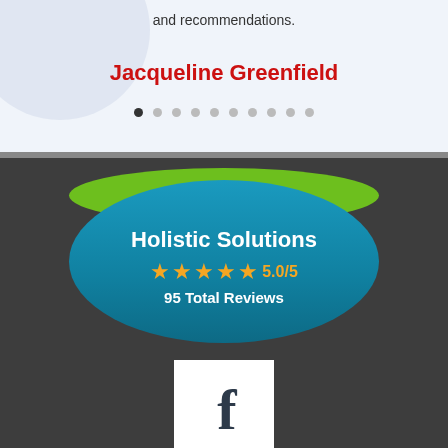and recommendations.
Jacqueline Greenfield
[Figure (infographic): Navigation dots row with one filled dark dot and nine lighter dots]
[Figure (infographic): Holistic Solutions badge: teal/blue oval badge with green highlight on top. Shows business name 'Holistic Solutions', star rating 5.0/5 with 5 gold stars, and '95 Total Reviews']
[Figure (logo): Facebook logo: white square box containing a dark blue/navy bold lowercase letter 'f']